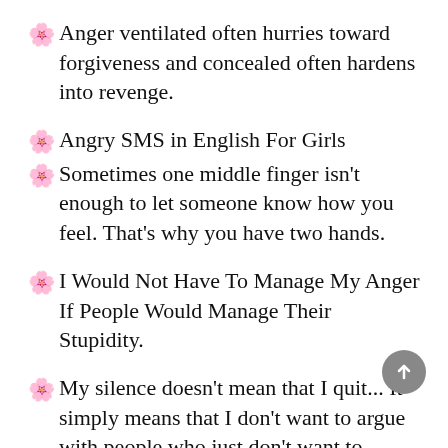🌸 Anger ventilated often hurries toward forgiveness and concealed often hardens into revenge.
🌸 Angry SMS in English For Girls
🌸 Sometimes one middle finger isn't enough to let someone know how you feel. That's why you have two hands.
🌸 I Would Not Have To Manage My Anger If People Would Manage Their Stupidity.
🌸 My silence doesn't mean that I quit... It simply means that I don't want to argue with people who just don't want to understand.